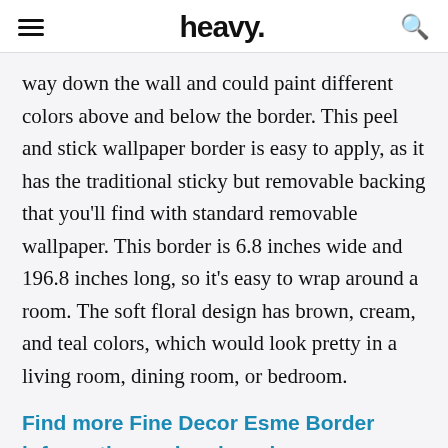heavy.
way down the wall and could paint different colors above and below the border. This peel and stick wallpaper border is easy to apply, as it has the traditional sticky but removable backing that you'll find with standard removable wallpaper. This border is 6.8 inches wide and 196.8 inches long, so it's easy to wrap around a room. The soft floral design has brown, cream, and teal colors, which would look pretty in a living room, dining room, or bedroom.
Find more Fine Decor Esme Border information and reviews here.